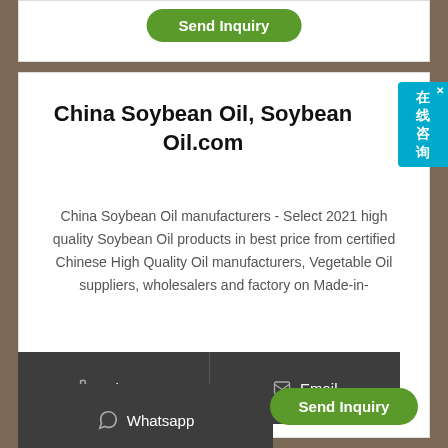[Figure (screenshot): Green 'Send Inquiry' button at top of page, partially visible]
China Soybean Oil, Soybean Oil.com
China Soybean Oil manufacturers - Select 2021 high quality Soybean Oil products in best price from certified Chinese High Quality Oil manufacturers, Vegetable Oil suppliers, wholesalers and factory on Made-in-
[Figure (screenshot): Contact buttons: Phone and Email in dark grey bar, Whatsapp button below, and Send Inquiry green button]
[Figure (screenshot): Chinese online chat widget (在线咨询) in cyan blue on the right side]